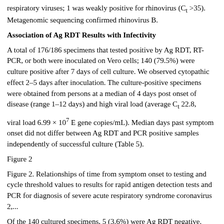respiratory viruses; 1 was weakly positive for rhinovirus (Ct >35). Metagenomic sequencing confirmed rhinovirus B.
Association of Ag RDT Results with Infectivity
A total of 176/186 specimens that tested positive by Ag RDT, RT-PCR, or both were inoculated on Vero cells; 140 (79.5%) were culture positive after 7 days of cell culture. We observed cytopathic effect 2–5 days after inoculation. The culture-positive specimens were obtained from persons at a median of 4 days post onset of disease (range 1–12 days) and high viral load (average Ct 22.8, viral load 6.99 × 10⁷ E gene copies/mL). Median days past symptom onset did not differ between Ag RDT and PCR positive samples independently of successful culture (Table 5).
Figure 2
Figure 2. Relationships of time from symptom onset to testing and cycle threshold values to results for rapid antigen detection tests and PCR for diagnosis of severe acute respiratory syndrome coronavirus 2,...
Of the 140 cultured specimens, 5 (3.6%) were Ag RDT negative. These specimens were collected a median of 6 days after onset of disease (range 5–7 days; 2 values missing) and had high viral loads